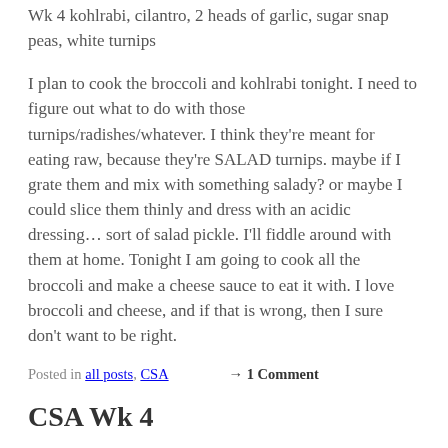Wk 4 kohlrabi, cilantro, 2 heads of garlic, sugar snap peas, white turnips
I plan to cook the broccoli and kohlrabi tonight. I need to figure out what to do with those turnips/radishes/whatever. I think they're meant for eating raw, because they're SALAD turnips. maybe if I grate them and mix with something salady? or maybe I could slice them thinly and dress with an acidic dressing… sort of salad pickle. I'll fiddle around with them at home. Tonight I am going to cook all the broccoli and make a cheese sauce to eat it with. I love broccoli and cheese, and if that is wrong, then I sure don't want to be right.
Posted in all posts, CSA → 1 Comment
CSA Wk 4